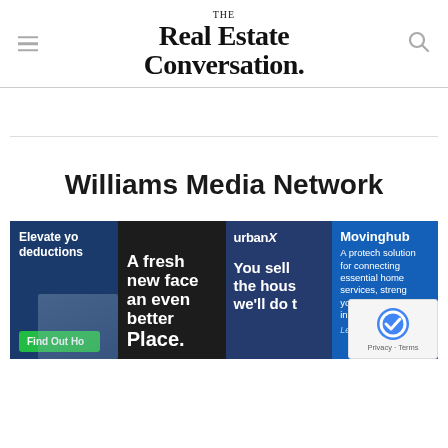THE Real Estate Conversation.
Williams Media Network
[Figure (screenshot): Strip of four advertisement banners: 1) Dark blue background with text 'Elevate yo... deductions...' and green 'Find Out Ho...' button. 2) Dark background with large white bold text 'A fresh new face an even better Place.' 3) Dark blue background with 'urbanX' brand logo and text 'You sell the hous... we'll do t...'. 4) Blue background with 'Movinghub' brand and text 'A protech solution for connecting essential home services, streng... your brand an... increasing reve...' with 'Learn More...' link. A reCAPTCHA privacy overlay appears at the bottom right.]